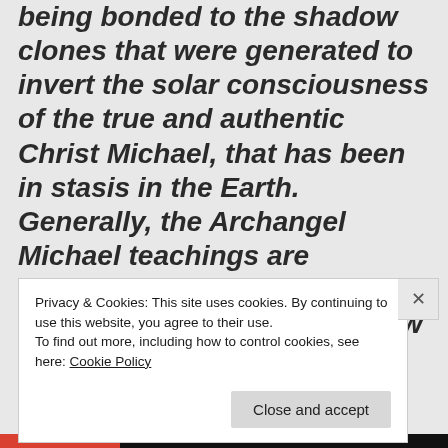being bonded to the shadow clones that were generated to invert the solar consciousness of the true and authentic Christ Michael, that has been in stasis in the Earth. Generally, the Archangel Michael teachings are connected to the Jehovian entities that infiltrated the new age under the moniker of Galactic Federation
Privacy & Cookies: This site uses cookies. By continuing to use this website, you agree to their use.
To find out more, including how to control cookies, see here: Cookie Policy